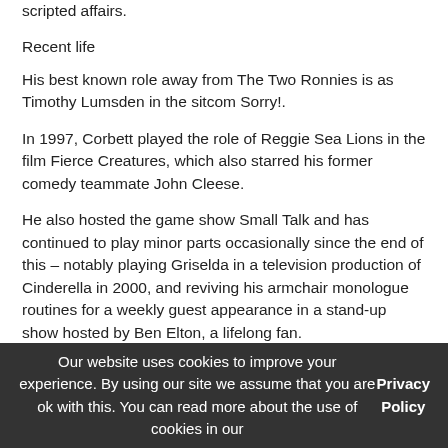scripted affairs.
Recent life
His best known role away from The Two Ronnies is as Timothy Lumsden in the sitcom Sorry!.
In 1997, Corbett played the role of Reggie Sea Lions in the film Fierce Creatures, which also starred his former comedy teammate John Cleese.
He also hosted the game show Small Talk and has continued to play minor parts occasionally since the end of this – notably playing Griselda in a television production of Cinderella in 2000, and reviving his armchair monologue routines for a weekly guest appearance in a stand-up show hosted by Ben Elton, a lifelong fan.
In 2003 he appeared in a series of advertisements for the Sky+ digital television service alongside Alice Cooper. The premise was a running gag about them being blissfully happy housemates.
Our website uses cookies to improve your experience. By using our site we assume that you are ok with this. You can read more about the use of cookies in our Privacy Policy